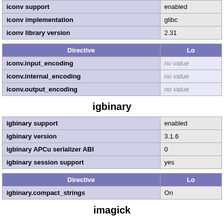|  |  |
| --- | --- |
| iconv support | enabled |
| iconv implementation | glibc |
| iconv library version | 2.31 |
| Directive | Lo |
| --- | --- |
| iconv.input_encoding | no value |
| iconv.internal_encoding | no value |
| iconv.output_encoding | no value |
igbinary
|  |  |
| --- | --- |
| igbinary support | enabled |
| igbinary version | 3.1.6 |
| igbinary APCu serializer ABI | 0 |
| igbinary session support | yes |
| Directive | Lo |
| --- | --- |
| igbinary.compact_strings | On |
imagick